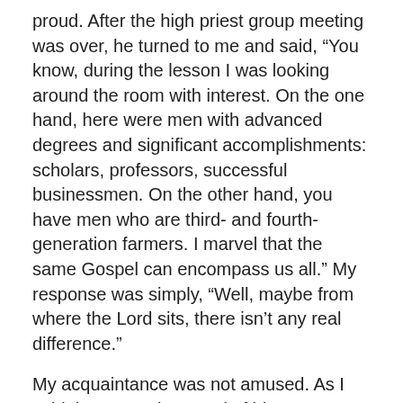proud. After the high priest group meeting was over, he turned to me and said, “You know, during the lesson I was looking around the room with interest. On the one hand, here were men with advanced degrees and significant accomplishments: scholars, professors, successful businessmen. On the other hand, you have men who are third- and fourth-generation farmers. I marvel that the same Gospel can encompass us all.” My response was simply, “Well, maybe from where the Lord sits, there isn’t any real difference.”
My acquaintance was not amused. As I said, he was quite proud of his Ivy League degree and did not care to be lumped in with farmers.
I have reflected on that exchange many times in the quarter-century since it happened. I think we all succumb to my acquaintance’s temptation from time to time and in different ways. The condescension of men is something